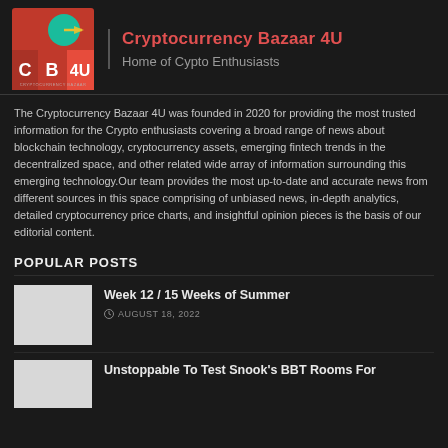Cryptocurrency Bazaar 4U — Home of Cypto Enthusiasts
The Cryptocurrency Bazaar 4U was founded in 2020 for providing the most trusted information for the Crypto enthusiasts covering a broad range of news about blockchain technology, cryptocurrency assets, emerging fintech trends in the decentralized space, and other related wide array of information surrounding this emerging technology.Our team provides the most up-to-date and accurate news from different sources in this space comprising of unbiased news, in-depth analytics, detailed cryptocurrency price charts, and insightful opinion pieces is the basis of our editorial content.
POPULAR POSTS
Week 12 / 15 Weeks of Summer — AUGUST 18, 2022
Unstoppable To Test Snook's BBT Rooms For